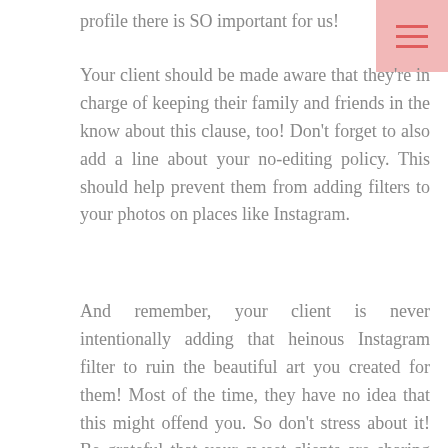profile there is SO important for us!
[Figure (other): Hamburger menu icon with three horizontal lines on a pink/salmon background, positioned in the top-right corner]
Your client should be made aware that they're in charge of keeping their family and friends in the know about this clause, too! Don't forget to also add a line about your no-editing policy. This should help prevent them from adding filters to your photos on places like Instagram.
And remember, your client is never intentionally adding that heinous Instagram filter to ruin the beautiful art you created for them! Most of the time, they have no idea that this might offend you. So don't stress about it! Be grateful that your sweet clients are sharing your photos! But simply including a quick line